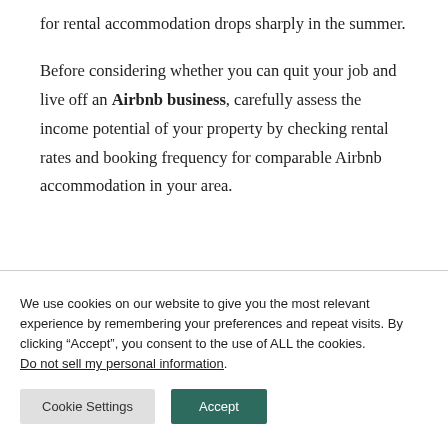for rental accommodation drops sharply in the summer.
Before considering whether you can quit your job and live off an Airbnb business, carefully assess the income potential of your property by checking rental rates and booking frequency for comparable Airbnb accommodation in your area.
We use cookies on our website to give you the most relevant experience by remembering your preferences and repeat visits. By clicking “Accept”, you consent to the use of ALL the cookies. Do not sell my personal information.